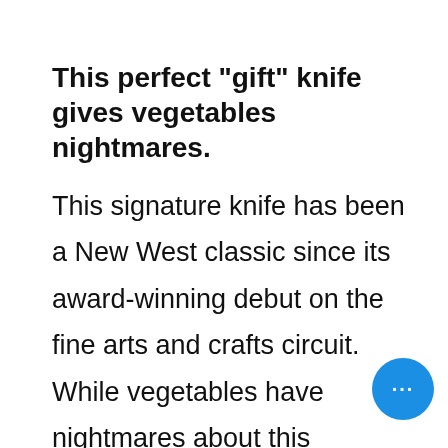This perfect "gift" knife gives vegetables nightmares.
This signature knife has been a New West classic since its award-winning debut on the fine arts and crafts circuit. While vegetables have nightmares about this chopping champion, you'll have sweet dreams about making salads and salsa. A mid-size knife that makes a large-size impact on the